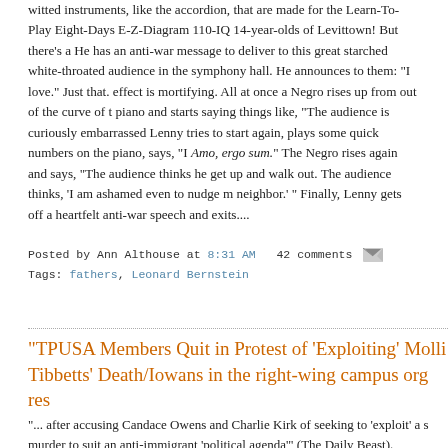witted instruments, like the accordion, that are made for the Learn-To-Play Eight-Days E-Z-Diagram 110-IQ 14-year-olds of Levittown! But there's a He has an anti-war message to deliver to this great starched white-throated audience in the symphony hall. He announces to them: "I love." Just that. The effect is mortifying. All at once a Negro rises up from out of the curve of the piano and starts saying things like, "The audience is curiously embarrassed" Lenny tries to start again, plays some quick numbers on the piano, says, "I… Amo, ergo sum." The Negro rises again and says, "The audience thinks he get up and walk out. The audience thinks, 'I am ashamed even to nudge my neighbor.' " Finally, Lenny gets off a heartfelt anti-war speech and exits....
Posted by Ann Althouse at 8:31 AM   42 comments
Tags: fathers, Leonard Bernstein
"TPUSA Members Quit in Protest of 'Exploiting' Mollie Tibbetts' Death/Iowans in the right-wing campus org res
"... after accusing Candace Owens and Charlie Kirk of seeking to 'exploit' a student murder to suit an anti-immigrant 'political agenda'" (The Daily Beast).